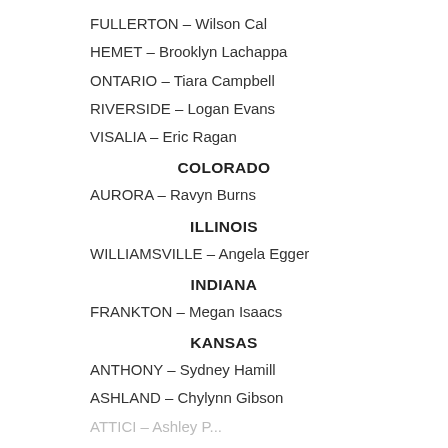FULLERTON – Wilson Cal
HEMET – Brooklyn Lachappa
ONTARIO – Tiara Campbell
RIVERSIDE – Logan Evans
VISALIA – Eric Ragan
COLORADO
AURORA – Ravyn Burns
ILLINOIS
WILLIAMSVILLE – Angela Egger
INDIANA
FRANKTON – Megan Isaacs
KANSAS
ANTHONY – Sydney Hamill
ASHLAND – Chylynn Gibson
ATTICI – …